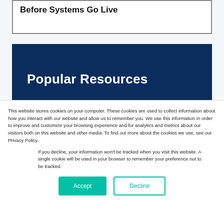Before Systems Go Live
Popular Resources
This website stores cookies on your computer. These cookies are used to collect information about how you interact with our website and allow us to remember you. We use this information in order to improve and customize your browsing experience and for analytics and metrics about our visitors both on this website and other media. To find out more about the cookies we use, see our Privacy Policy.
If you decline, your information won't be tracked when you visit this website. A single cookie will be used in your browser to remember your preference not to be tracked.
Accept   Decline